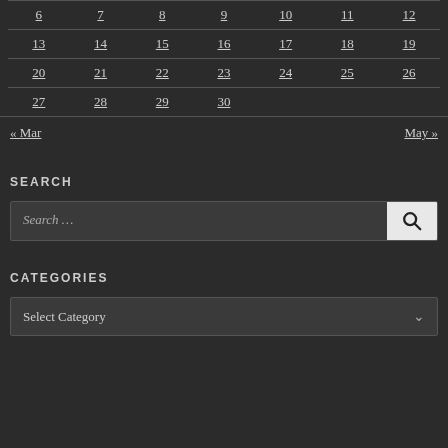| 6 | 7 | 8 | 9 | 10 | 11 | 12 |
| 13 | 14 | 15 | 16 | 17 | 18 | 19 |
| 20 | 21 | 22 | 23 | 24 | 25 | 26 |
| 27 | 28 | 29 | 30 |  |  |  |
« Mar    May »
SEARCH
Search …
CATEGORIES
Select Category